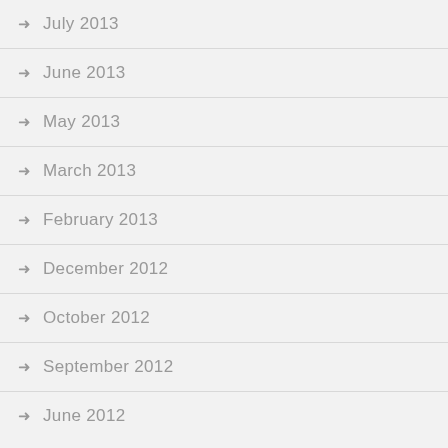July 2013
June 2013
May 2013
March 2013
February 2013
December 2012
October 2012
September 2012
June 2012